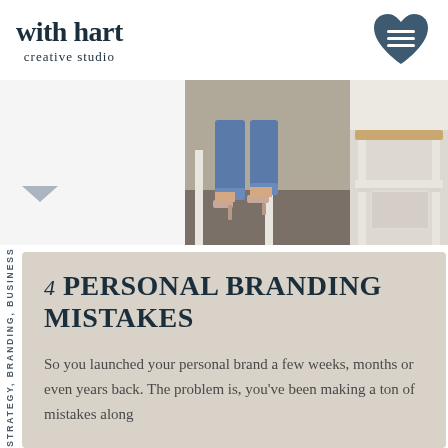with hart creative studio
[Figure (logo): Heart-shaped hamburger menu icon in dark slate blue]
[Figure (photo): Two photos side by side: left photo shows person in jeans and heels near white furniture; right photo shows partial view of white shelving unit]
STRATEGY, BRANDING, BUSINESS
4 PERSONAL BRANDING MISTAKES
So you launched your personal brand a few weeks, months or even years back. The problem is, you've been making a ton of mistakes along